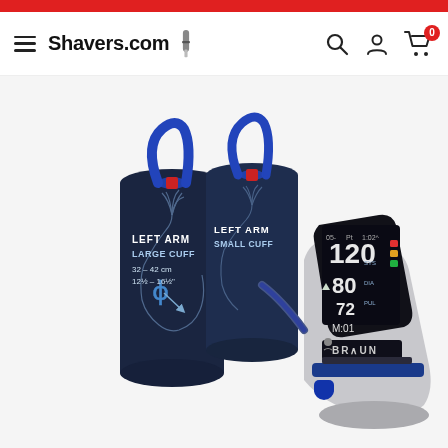Shavers.com — navigation bar with hamburger menu, logo, search, account, and cart icons
[Figure (photo): Braun upper-arm blood pressure monitor with digital display showing readings of 120/80/72, accompanied by two LEFT ARM cuffs — a LARGE CUFF (32–42 cm / 12½–16½ inches) and a SMALL CUFF — displayed against a white background]